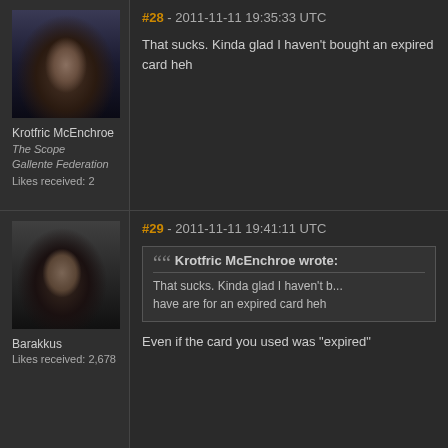#28 - 2011-11-11 19:35:33 UTC
That sucks. Kinda glad I haven't bought an expired card heh
Krotfric McEnchroe
The Scope
Gallente Federation
Likes received: 2
#29 - 2011-11-11 19:41:11 UTC
Krotfric McEnchroe wrote: That sucks. Kinda glad I haven't b... have are for an expired card heh
Barakkus
Likes received: 2,678
Even if the card you used was "expired"